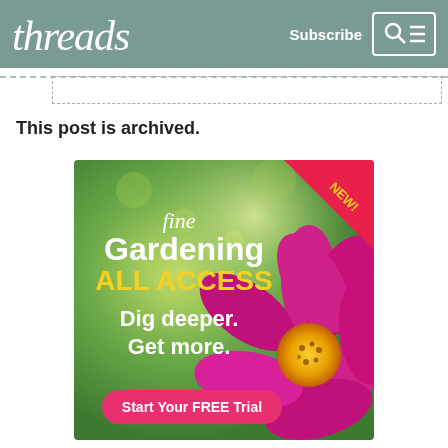threads | Subscribe
This post is archived.
[Figure (illustration): Fine Gardening ALL ACCESS advertisement. Green bokeh background with large pink cosmos flower on right. Text: 'fine Gardening ALL ACCESS Dig deeper. Get more. Start Your FREE Trial'. Pink corner ribbon with 'NEW!' in yellow.]